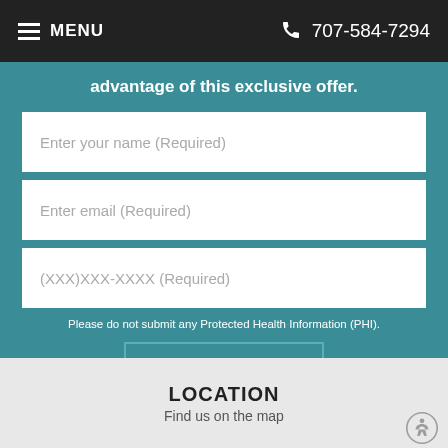MENU  707-584-7294
advantage of this exclusive offer.
Enter your name (Required)
Enter email (Required)
(XXX)XXX-XXXX (Required)
Please do not submit any Protected Health Information (PHI).
SUBMIT
LOCATION
Find us on the map